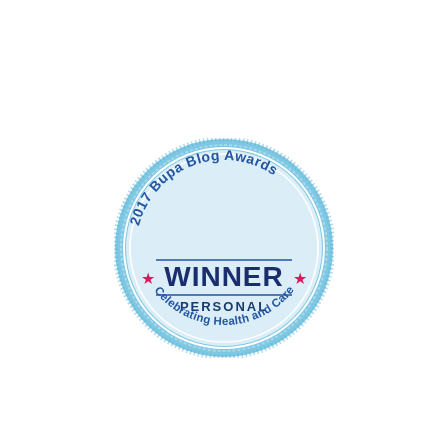[Figure (logo): Circular badge for 2017 Bupa Blog Awards. Outer ring is light blue with a dotted/textured border. Inner circle has a light blue/grey gradient background. Curved text along the top reads '2017 Bupa Blog Awards' in dark blue. In the center: a horizontal line, then 'WINNER' in large bold dark navy text flanked by pink stars on each side, then another horizontal line, then 'PERSONAL' in dark blue text. Curved text along the bottom reads 'Celebrating Health and Care' in medium blue.]